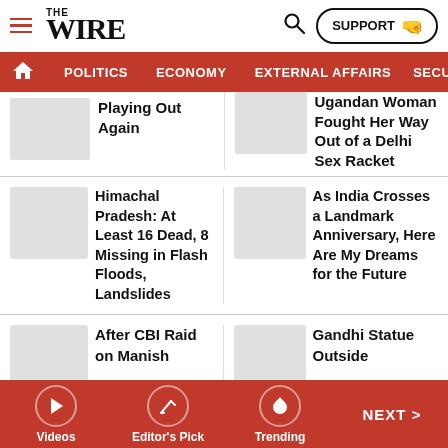THE WIRE — navigation header with logo, search, support button, and nav bar (POLITICS, ECONOMY, EXTERNAL AFFAIRS, SECU...)
Playing Out Again
Ugandan Woman Fought Her Way Out of a Delhi Sex Racket
Himachal Pradesh: At Least 16 Dead, 8 Missing in Flash Floods, Landslides
As India Crosses a Landmark Anniversary, Here Are My Dreams for the Future
After CBI Raid on Manish
Gandhi Statue Outside
Videos | Editor's Pick | Trending | NEXT >